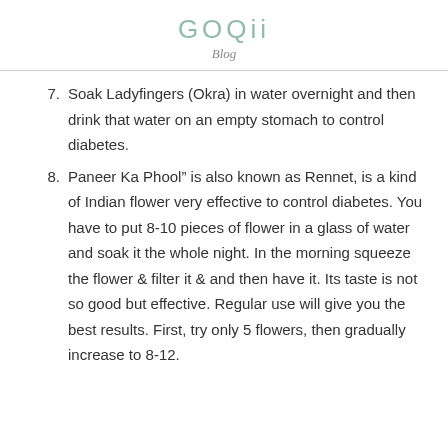GOQii
Blog
7. Soak Ladyfingers (Okra) in water overnight and then drink that water on an empty stomach to control diabetes.
8. Paneer Ka Phool” is also known as Rennet, is a kind of Indian flower very effective to control diabetes. You have to put 8-10 pieces of flower in a glass of water and soak it the whole night. In the morning squeeze the flower & filter it & and then have it. Its taste is not so good but effective. Regular use will give you the best results. First, try only 5 flowers, then gradually increase to 8-12.